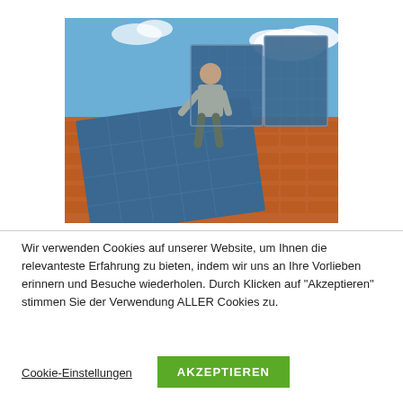[Figure (photo): A person installing solar panels on a terracotta tiled roof. Multiple blue photovoltaic panels are arranged on the roof, with blue sky and clouds in the background.]
Wir verwenden Cookies auf unserer Website, um Ihnen die relevanteste Erfahrung zu bieten, indem wir uns an Ihre Vorlieben erinnern und Besuche wiederholen. Durch Klicken auf "Akzeptieren" stimmen Sie der Verwendung ALLER Cookies zu.
Cookie-Einstellungen
AKZEPTIEREN